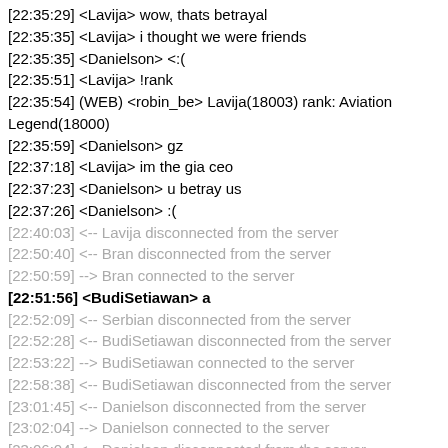[22:35:29] <Lavija> wow, thats betrayal
[22:35:35] <Lavija> i thought we were friends
[22:35:35] <Danielson> <:(
[22:35:51] <Lavija> !rank
[22:35:54] (WEB) <robin_be> Lavija(18003) rank: Aviation Legend(18000)
[22:35:59] <Danielson> gz
[22:37:18] <Lavija> im the gia ceo
[22:37:23] <Danielson> u betray us
[22:37:26] <Danielson> :(
[22:40:03] <-- Lavija disconnected from the server
[22:50:40] <-- Bran disconnected from the server
[22:50:59] --> Bran connected to the server
[22:51:56] <BudiSetiawan> a
[22:52:09] <-- Serbian disconnected from the server
[22:52:28] <-- BudiSetiawan disconnected from the server
[22:53:22] --> BudiSetiawan connected to the server
[22:58:38] <-- BudiSetiawan disconnected from the server
[23:01:45] <-- Danielson disconnected from the server
[23:02:04] --> Danielson connected to the server
[23:06:04] <-- Danielson disconnected from the server
[23:07:25] --> Lavija connected to the server
[23:12:33] --> Danielson connected to the server
[23:13:54] <-- Danielson disconnected from the server
[23:15:18] <-- ZFPilot disconnected from the server